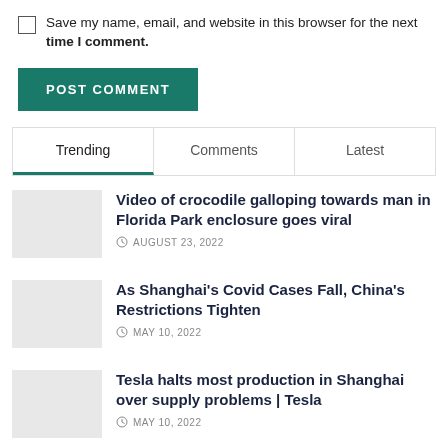Save my name, email, and website in this browser for the next time I comment.
POST COMMENT
Trending | Comments | Latest
Video of crocodile galloping towards man in Florida Park enclosure goes viral
AUGUST 23, 2022
As Shanghai's Covid Cases Fall, China's Restrictions Tighten
MAY 10, 2022
Tesla halts most production in Shanghai over supply problems | Tesla
MAY 10, 2022